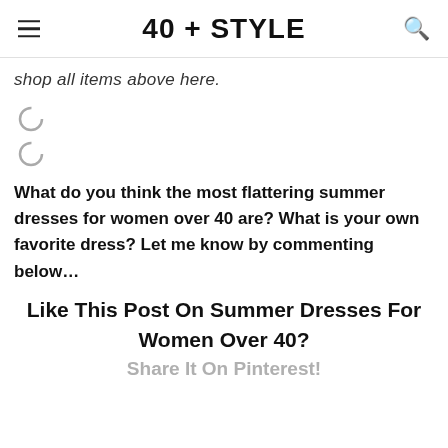40 + STYLE
shop all items above here.
[Figure (other): Two loading spinner icons (partially loaded circular icons)]
What do you think the most flattering summer dresses for women over 40 are? What is your own favorite dress? Let me know by commenting below…
Like This Post On Summer Dresses For Women Over 40?
Share It On Pinterest!